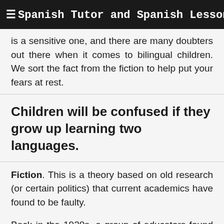≡ Spanish Tutor and Spanish Lessons in Washington DC
is a sensitive one, and there are many doubters out there when it comes to bilingual children. We sort the fact from the fiction to help put your fears at rest.
Children will be confused if they grow up learning two languages.
Fiction. This is a theory based on old research (or certain politics) that current academics have found to be faulty.
Back in the 1920s, a group of educators found that children who spoke two languages were less